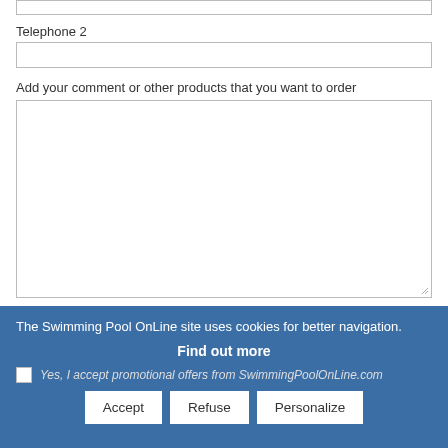Telephone 2
Add your comment or other products that you want to order
The Swimming Pool OnLine site uses cookies for better navigation.
Find out more
Yes, I accept promotional offers from SwimmingPoolOnLine.com
Accept
Refuse
Personalize
Spare parts order